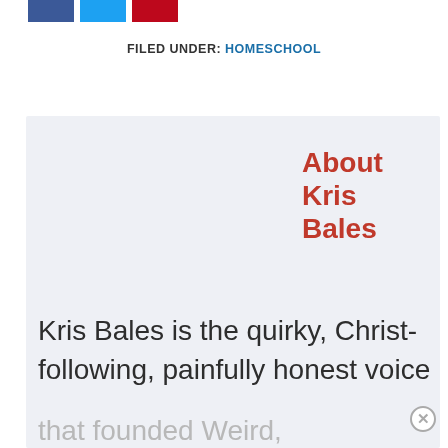[Figure (other): Three social share buttons: Facebook (blue), Twitter (light blue), Pinterest (red)]
FILED UNDER: HOMESCHOOL
About Kris Bales
Kris Bales is the quirky, Christ-following, painfully honest voice that founded Weird, Unsocialized